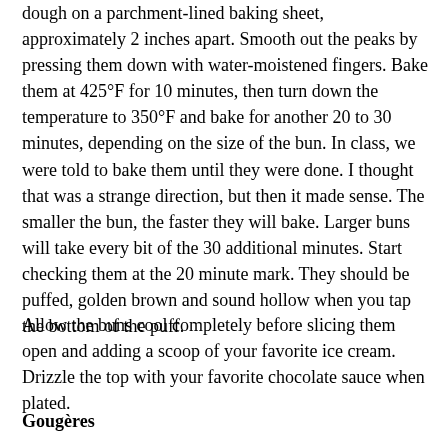dough on a parchment-lined baking sheet, approximately 2 inches apart. Smooth out the peaks by pressing them down with water-moistened fingers. Bake them at 425°F for 10 minutes, then turn down the temperature to 350°F and bake for another 20 to 30 minutes, depending on the size of the bun. In class, we were told to bake them until they were done. I thought that was a strange direction, but then it made sense. The smaller the bun, the faster they will bake. Larger buns will take every bit of the 30 additional minutes. Start checking them at the 20 minute mark. They should be puffed, golden brown and sound hollow when you tap the bottom of the puff.
Allow the buns cool completely before slicing them open and adding a scoop of your favorite ice cream. Drizzle the top with your favorite chocolate sauce when plated.
Gougères